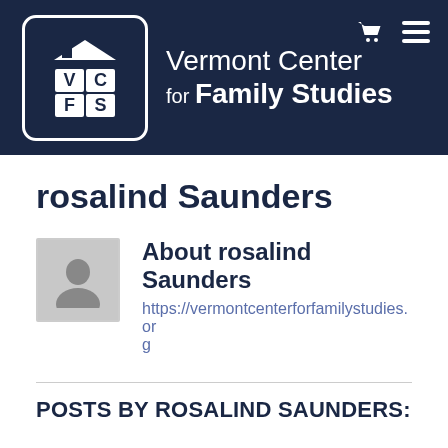[Figure (logo): Vermont Center for Family Studies logo — white VCFS letters in a house-icon box on dark navy background, with organization name in white text]
rosalind Saunders
About rosalind Saunders
https://vermontcenterforfamilystudies.org
POSTS BY ROSALIND SAUNDERS: